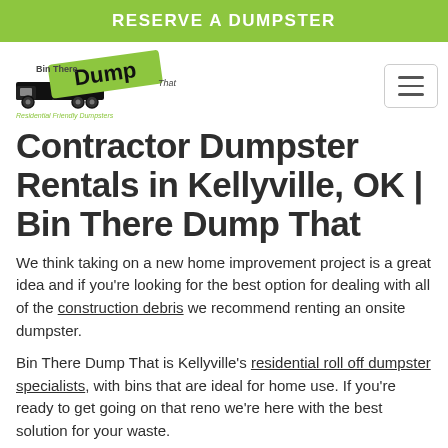RESERVE A DUMPSTER
[Figure (logo): Bin There Dump That logo with dump truck and green banner]
Contractor Dumpster Rentals in Kellyville, OK | Bin There Dump That
We think taking on a new home improvement project is a great idea and if you're looking for the best option for dealing with all of the construction debris we recommend renting an onsite dumpster.
Bin There Dump That is Kellyville's residential roll off dumpster specialists, with bins that are ideal for home use. If you're ready to get going on that reno we're here with the best solution for your waste.